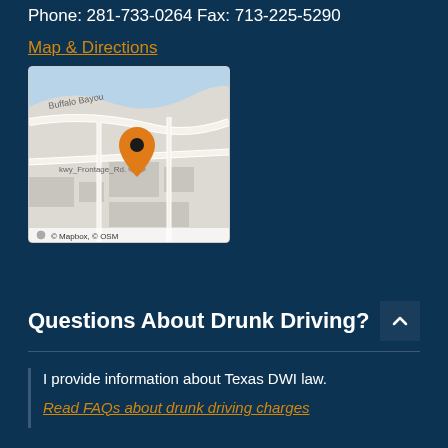Phone: 281-733-0264
Fax: 713-225-5290
Map & Directions
[Figure (map): Map showing location near Buffalo Bayou and Frontage Rd with an orange location pin marker. Attribution: © Mapbox, © OSM]
Questions About Drunk Driving?
I provide information about Texas DWI law.
Read FAQs about drunk driving charges